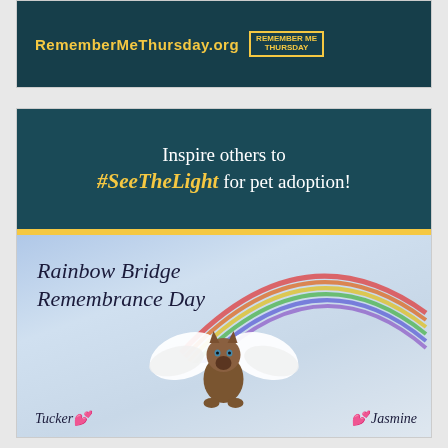[Figure (illustration): Partial banner showing RememberMeThursday.org in gold text on dark teal background with Remember Me Thursday badge]
[Figure (illustration): Two-part card: top dark teal banner reading 'Inspire others to #SeeTheLight for pet adoption!' with gold bar divider; bottom section shows Rainbow Bridge Remembrance Day text over sky/clouds background with a Siamese cat with angel wings, and names Tucker and Jasmine with heart emojis]